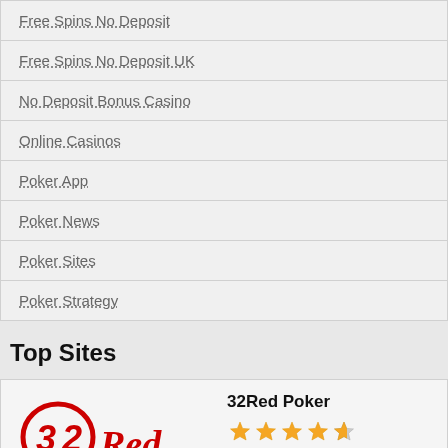Free Spins No Deposit
Free Spins No Deposit UK
No Deposit Bonus Casino
Online Casinos
Poker App
Poker News
Poker Sites
Poker Strategy
Top Sites
[Figure (logo): 32Red logo in red script]
32Red Poker
[Figure (other): 4.5 star rating in gold stars]